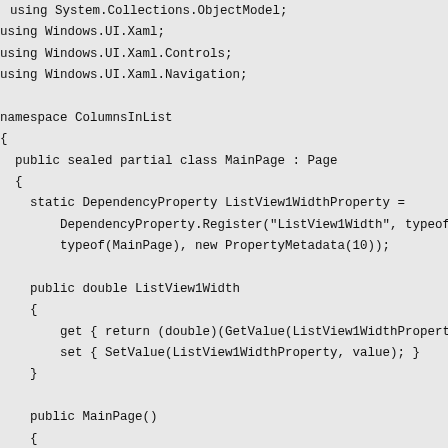using System.Collections.ObjectModel;
using Windows.UI.Xaml;
using Windows.UI.Xaml.Controls;
using Windows.UI.Xaml.Navigation;

namespace ColumnsInList
{
    public sealed partial class MainPage : Page
    {
        static DependencyProperty ListView1WidthProperty =
            DependencyProperty.Register("ListView1Width", typeof(dou
            typeof(MainPage), new PropertyMetadata(10));

        public double ListView1Width
        {
            get { return (double)(GetValue(ListView1WidthProperty));
            set { SetValue(ListView1WidthProperty, value); }
        }

        public MainPage()
        {
            this.InitializeComponent();

        }

        protected override void OnNavigatedTo(NavigationEventArgs
        {
            ListView1.ItemsSource = new ObservableCollection<Class1>
                    new Class1{One="One1", Two = "Two1", Three ="Thr
                    new Class1{One="One2", Two = "Two2", Three ="Thr
                    new Class1{One="One3", Two = "Two3", Three ="Thr
                    new Class1{One="One4", Two = "Two4", Three ="Thr
            }};